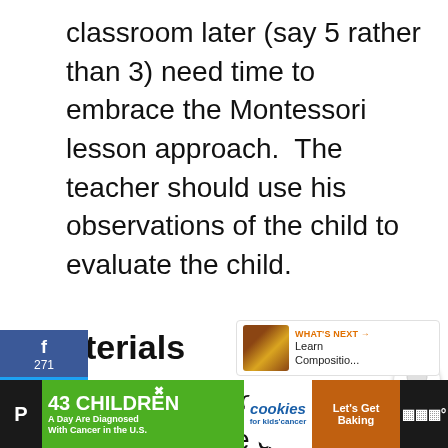classroom later (say 5 rather than 3) need time to embrace the Montessori lesson approach.  The teacher should use his observations of the child to evaluate the child.
Materials
useful information to help prepare for the day, month, or even the school year. The teacher also needs to be certain a complete set of materials exists for the child to complete her work.
[Figure (screenshot): Social media sidebar with Facebook (f, 271), Twitter, and Pinterest (819) share buttons on the left; heart/like button (1.1K) and share button on the right; What's Next widget showing 'Learn Compositio...' thumbnail]
[Figure (infographic): Bottom advertisement banner: '43 CHILDREN A Day Are Diagnosed With Cancer in the U.S.' with cookies for kids' cancer logo and 'Let's Get Baking' button on dark/green background]